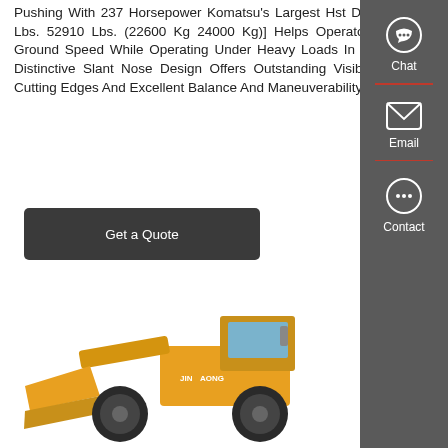Pushing With 237 Horsepower Komatsu's Largest Hst Dozer [49825 Lbs. 52910 Lbs. (22600 Kg 24000 Kg)] Helps Operators Maintain Ground Speed While Operating Under Heavy Loads In H Mode. Its Distinctive Slant Nose Design Offers Outstanding Visibility To The Cutting Edges And Excellent Balance And Maneuverability.
[Figure (screenshot): Button labeled 'Get a Quote' with dark grey/charcoal rounded rectangle background]
[Figure (screenshot): Sidebar on right side with dark grey background showing Chat, Email, and Contact icons with red dividers]
[Figure (photo): Yellow JINAGONG wheel loader / front loader construction equipment photographed on white background]